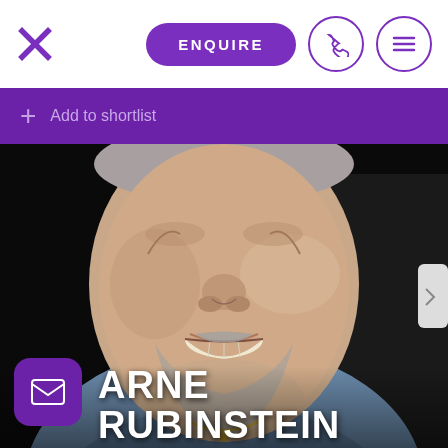ENQUIRE
Add to shortlist
[Figure (photo): Headshot of Arne Rubinstein, a middle-aged man with grey stubble beard, smiling broadly, wearing a blue polo shirt, against a black background]
ARNE RUBINSTEIN